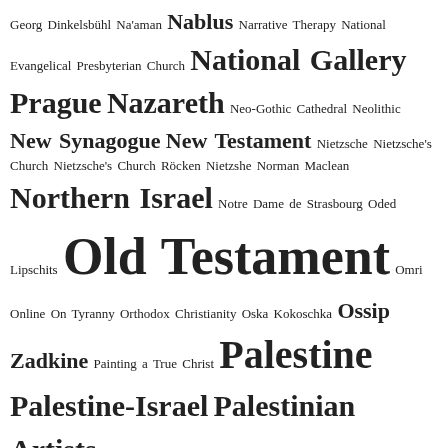Tag cloud including: Georg Dinkelsbühl Na'aman Nablus Narrative Therapy National Evangelical Presbyterian Church National Gallery Prague Nazareth Neo-Gothic Cathedral Neolithic New Synagogue New Testament Nietzsche Nietzsche's Church Nietzsche's Church Röcken Nietzshe Norman Maclean Northern Israel Notre Dame de Strasbourg Oded Lipschits Old Testament Omri Online On Tyranny Orthodox Christianity Oska Kokoschka Ossip Zadkine Painting a True Christ Palestine Palestine-Israel Palestinian Artists Palestinian Refugees Palestinians Parables in the New Testament Paris Passion of God Peer Mentors Persian Period Philosophy and Religion Photos Phyllis Trible Politics and Religion Pope Leo X Portrait in Red and Black Postmodern Potter's Marsh Potter Marsh Prague Prehistoric Religion Princeton Prodigal Son Pushkin Q2 Q2 Mono Qatar Racism Rahab Ramallah Ramat Rahel Ramet Rahel Ras Shamra Reading the Bible Red Doors Referendum Reformation Refugees Relevance of Christianity Religion in the Media